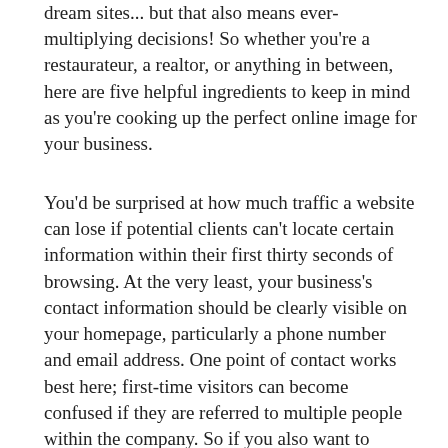dream sites... but that also means ever-multiplying decisions! So whether you're a restaurateur, a realtor, or anything in between, here are five helpful ingredients to keep in mind as you're cooking up the perfect online image for your business.
You'd be surprised at how much traffic a website can lose if potential clients can't locate certain information within their first thirty seconds of browsing. At the very least, your business's contact information should be clearly visible on your homepage, particularly a phone number and email address. One point of contact works best here; first-time visitors can become confused if they are referred to multiple people within the company. So if you also want to provide a detailed staff contact list, link to it on its own separate page. Your homepage should also prominently display your hours of operation and full street address. Many users will also appreciate a link to a page with